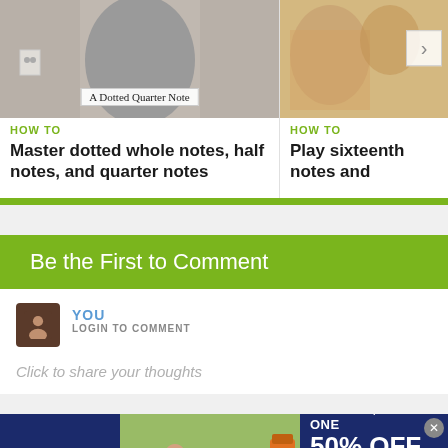[Figure (screenshot): Thumbnail of a music lesson video showing a person holding something with text label 'A Dotted Quarter Note']
HOW TO
Master dotted whole notes, half notes, and quarter notes
[Figure (screenshot): Thumbnail of a music lesson video, partially visible, with a navigation arrow on the right]
HOW TO
Play sixteenth notes and
Be the First to Comment
YOU
LOGIN TO COMMENT
Click to share your thoughts
[Figure (photo): Petco advertisement: BUY ONE, GET ONE 50% OFF - Help support your dog's joints with a premium supplement. SHOP NOW button. Shows woman with dog and supplement bottle.]